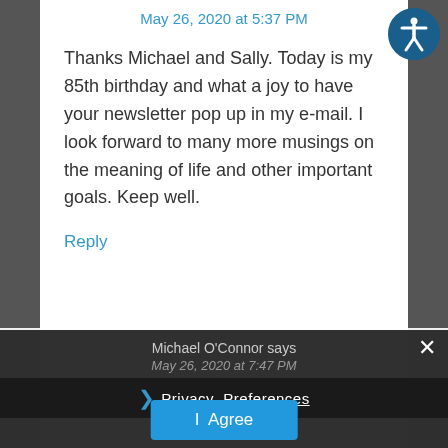May 26, 2020 at 5:37 PM
Thanks Michael and Sally. Today is my 85th birthday and what a joy to have your newsletter pop up in my e-mail. I look forward to many more musings on the meaning of life and other important goals. Keep well.
Reply
Michael O'Connor says
May 26, 2020 at 7:47 PM
Happy Birthday! It's amazing how God works. He knew it was
Privacy Preferences
I Agree